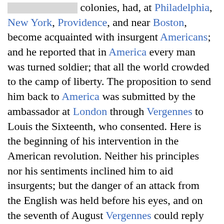[redacted] colonies, had, at Philadelphia, New York, Providence, and near Boston, become acquainted with insurgent Americans; and he reported that in America every man was turned soldier; that all the world crowded to the camp of liberty. The proposition to send him back to America was submitted by the ambassador at London through Vergennes to Louis the Sixteenth, who consented. Here is the beginning of his intervention in the American revolution. Neither his principles nor his sentiments inclined him to aid insurgents; but the danger of an attack from the English was held before his eyes, and on the seventh of August Vergennes could reply to De Guines: 'Be assured, sir, the king very